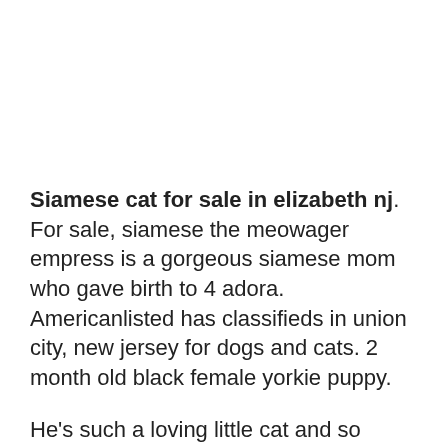Siamese cat for sale in elizabeth nj. For sale, siamese the meowager empress is a gorgeous siamese mom who gave birth to 4 adora. Americanlisted has classifieds in union city, new jersey for dogs and cats. 2 month old black female yorkie puppy.
He's such a loving little cat and so playful! Browse siamese kittens for sale & cats for adoption. Atlantic county, egg harbor, nj id:
Browse search results for siamese pets and animals for sale in paramus, nj. Search results for